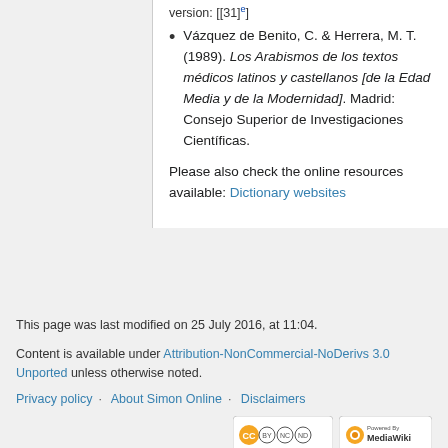Vázquez de Benito, C. & Herrera, M. T. (1989). Los Arabismos de los textos médicos latinos y castellanos [de la Edad Media y de la Modernidad]. Madrid: Consejo Superior de Investigaciones Científicas.
Please also check the online resources available: Dictionary websites
This page was last modified on 25 July 2016, at 11:04.
Content is available under Attribution-NonCommercial-NoDerivs 3.0 Unported unless otherwise noted.
Privacy policy · About Simon Online · Disclaimers